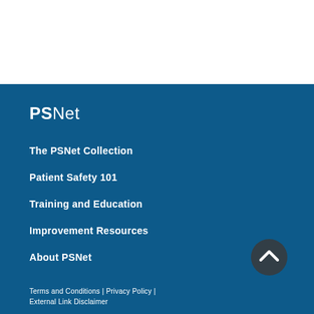[Figure (logo): PSNet logo in white text on blue background]
The PSNet Collection
Patient Safety 101
Training and Education
Improvement Resources
About PSNet
Terms and Conditions | Privacy Policy | External Link Disclaimer